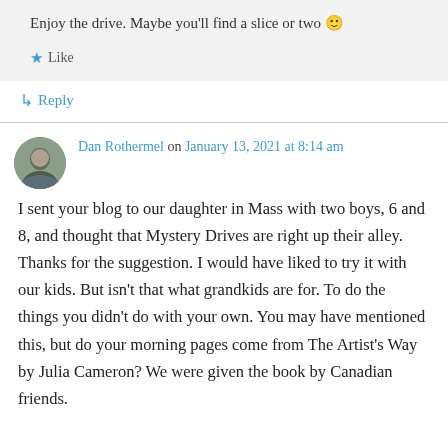Enjoy the drive. Maybe you'll find a slice or two 🙂
★ Like
↳ Reply
Dan Rothermel on January 13, 2021 at 8:14 am
I sent your blog to our daughter in Mass with two boys, 6 and 8, and thought that Mystery Drives are right up their alley. Thanks for the suggestion. I would have liked to try it with our kids. But isn't that what grandkids are for. To do the things you didn't do with your own. You may have mentioned this, but do your morning pages come from The Artist's Way by Julia Cameron? We were given the book by Canadian friends.